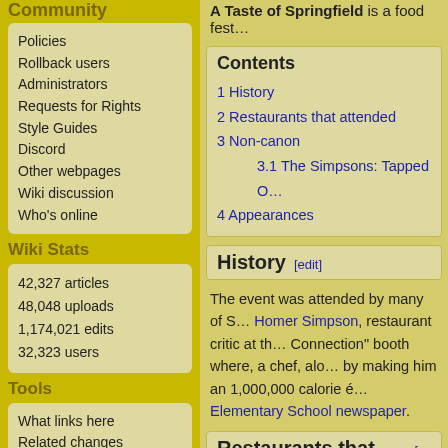Community
Policies
Rollback users
Administrators
Requests for Rights
Style Guides
Discord
Other webpages
Wiki discussion
Who's online
Wiki Stats
42,327 articles
48,048 uploads
1,174,021 edits
32,323 users
Tools
What links here
Related changes
Special pages
Printable version
Permanent link
A Taste of Springfield is a food fest…
| Contents |
| --- |
| 1 History |
| 2 Restaurants that attended |
| 3 Non-canon |
| 3.1 The Simpsons: Tapped O… |
| 4 Appearances |
History [edit]
The event was attended by many of S… Homer Simpson, restaurant critic at th… Connection" booth where, a chef, alo… by making him an 1,000,000 calorie é… Elementary School newspaper.
Restaurants that attended […